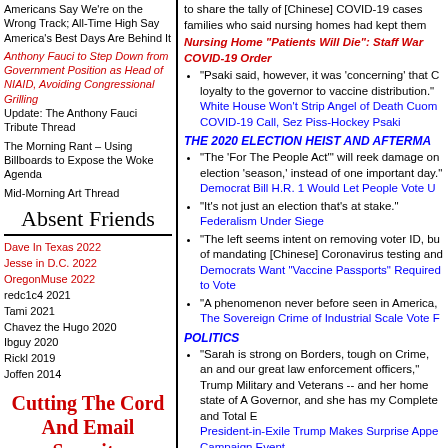Americans Say We're on the Wrong Track; All-Time High Say America's Best Days Are Behind It
Anthony Fauci to Step Down from Government Position as Head of NIAID, Avoiding Congressional Grilling
Update: The Anthony Fauci Tribute Thread
The Morning Rant – Using Billboards to Expose the Woke Agenda
Mid-Morning Art Thread
Absent Friends
Dave In Texas 2022
Jesse in D.C. 2022
OregonMuse 2022
redc1c4 2021
Tami 2021
Chavez the Hugo 2020
Ibguy 2020
Rickl 2019
Joffen 2014
Cutting The Cord And Email Security
to share the tally of [Chinese] COVID-19 cases families who said nursing homes had kept them
Nursing Home "Patients Will Die": Staff War COVID-19 Order
"Psaki said, however, it was 'concerning' that C loyalty to the governor to vaccine distribution." White House Won't Strip Angel of Death Cuom COVID-19 Call, Sez Piss-Hockey Psaki
THE 2020 ELECTION HEIST AND AFTERMA
"The 'For The People Act' will reek damage on election 'season,' instead of one important day." Democrat Bill H.R. 1 Would Let People Vote U
"It's not just an election that's at stake."
Federalism Under Siege
"The left seems intent on removing voter ID, bu of mandating [Chinese] Coronavirus testing and Democrats Want "Vaccine Passports" Required to Vote
"A phenomenon never before seen in America, The Sovereign Crime of Industrial Scale Vote F
POLITICS
"Sarah is strong on Borders, tough on Crime, an and our great law enforcement officers," Trump Military and Veterans -- and her home state of A Governor, and she has my Complete and Total E President-in-Exile Trump Makes Surprise Appe Campaign Event